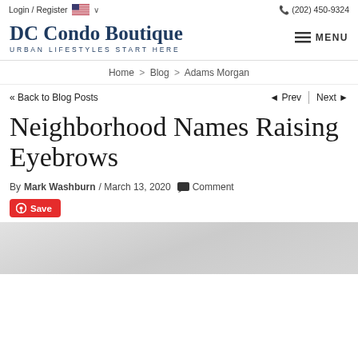Login / Register  (202) 450-9324
DC Condo Boutique
URBAN LIFESTYLES START HERE
Home > Blog > Adams Morgan
<< Back to Blog Posts   ◄ Prev | Next ►
Neighborhood Names Raising Eyebrows
By Mark Washburn / March 13, 2020  Comment
[Figure (other): Red Pinterest Save button]
[Figure (photo): Partial view of a photo, light gray/sky tones, bottom of page]